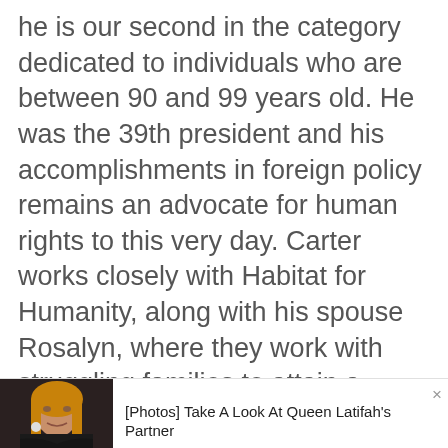he is our second in the category dedicated to individuals who are between 90 and 99 years old. He was the 39th president and his accomplishments in foreign policy remains an advocate for human rights to this very day. Carter works closely with Habitat for Humanity, along with his spouse Rosalyn, where they work with struggling families to attain a decent standard of living.
[Figure (photo): Advertisement banner showing a woman (Queen Latifah's partner photo) with text '[Photos] Take A Look At Queen Latifah's Partner' and 'Sponsored: Univarce']
[Figure (photo): Bottom image strip showing two elderly men's faces side by side, one on the left and one on the right with a flag visible between them]